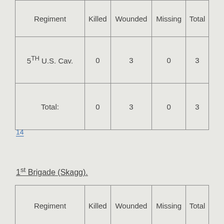| Regiment | Killed | Wounded | Missing | Total |
| --- | --- | --- | --- | --- |
| 5TH U.S. Cav. | 0 | 3 | 0 | 3 |
| Total: | 0 | 3 | 0 | 3 |
14
1st Brigade (Skagg).
| Regiment | Killed | Wounded | Missing | Total |
| --- | --- | --- | --- | --- |